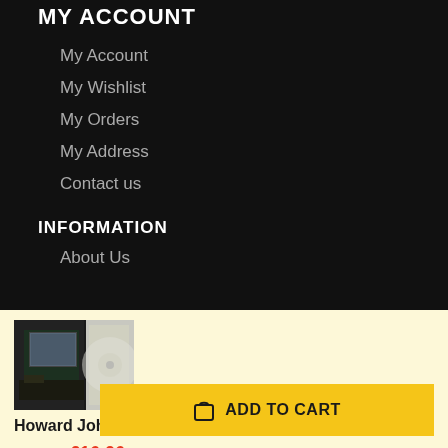MY ACCOUNT
My Account
My Wishlist
My Orders
My Address
Contact us
INFORMATION
About Us
[Figure (photo): Thumbnail image of Howard Johnson - The Vision (PTG CD) album cover]
Howard Johnson – The Vision (PTG CD) In stock
€16,90  €16,06
ADD TO CART